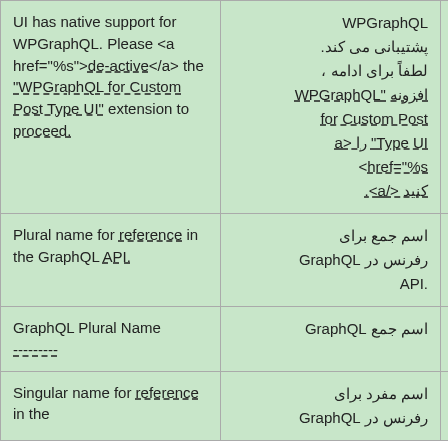| English | Persian (فارسی) | Action |
| --- | --- | --- |
| UI has native support for WPGraphQL. Please <a href="%s">de-active</a> the "WPGraphQL for Custom Post Type UI" extension to proceed. | WPGraphQL پشتیبانی می کند. لطفاً برای ادامه ، افزونه "WPGraphQL for Custom Post Type UI" را <a href="%s">غیرفعال کنید.</a> |  |
| Plural name for reference in the GraphQL API. | اسم جمع برای رفرنس در GraphQL API. | Details |
| GraphQL Plural Name | اسم جمع GraphQL | Details |
| Singular name for reference in the | اسم مفرد برای رفرنس در GraphQL | Details |